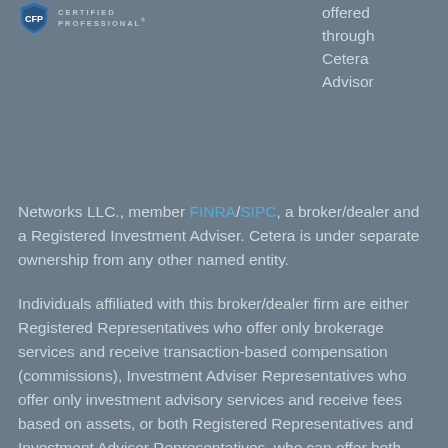[Figure (logo): Shield logo with 'CERTIFIED PROFESSIONAL' text to the right]
offered through Cetera Advisor Networks LLC., member FINRA/SIPC, a broker/dealer and a Registered Investment Adviser. Cetera is under separate ownership from any other named entity.
Individuals affiliated with this broker/dealer firm are either Registered Representatives who offer only brokerage services and receive transaction-based compensation (commissions), Investment Adviser Representatives who offer only investment advisory services and receive fees based on assets, or both Registered Representatives and Investment Adviser Representatives, who can offer both types of services.
This site is published for residents of the United States only. Registered representatives of Cetera Advisor Networks LLC may only conduct business with residents of the states and/or jurisdictions in which they are properly registered. Not all of the products and services referenced on this site may be available